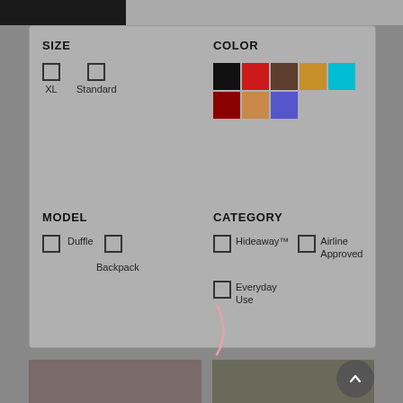SIZE
XL
Standard
COLOR
[Figure (other): Color swatches: black, red, brown, tan/gold, teal/cyan (row 1); dark red/maroon, camel/tan, purple/indigo (row 2)]
MODEL
Duffle
Backpack
CATEGORY
Hideaway™
Airline Approved
Everyday Use
[Figure (photo): Bottom left product photo - dark toned image]
[Figure (photo): Bottom right product photo - outdoor/nature toned image]